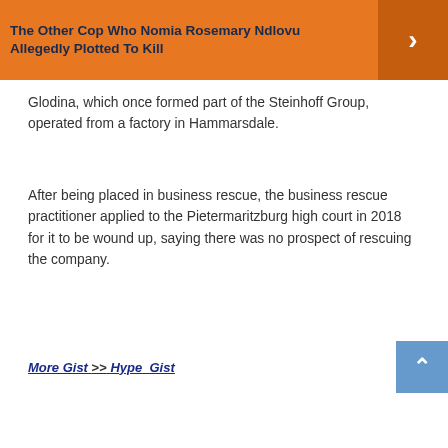The Other Cop Who Nomia Rosemary Ndlovu Allegedly Plotted To Kill
Glodina, which once formed part of the Steinhoff Group, operated from a factory in Hammarsdale.
After being placed in business rescue, the business rescue practitioner applied to the Pietermaritzburg high court in 2018 for it to be wound up, saying there was no prospect of rescuing the company.
More Gist >> Hype  Gist